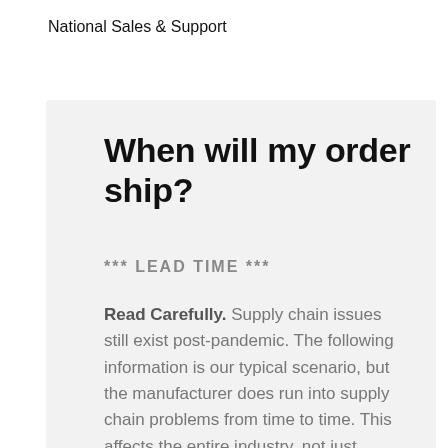National Sales & Support
When will my order ship?
*** LEAD TIME ***
Read Carefully. Supply chain issues still exist post-pandemic. The following information is our typical scenario, but the manufacturer does run into supply chain problems from time to time. This affects the entire industry, not just Porch Windows Direct.